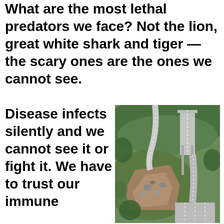What are the most lethal predators we face? Not the lion, great white shark and tiger — the scary ones are the ones we cannot see.
Disease infects silently and we cannot see it or fight it. We have to trust our immune
[Figure (photo): Aerial photograph of a highway interchange with a massive landslide that has collapsed part of the road, showing highways winding through green hillsides with debris covering a section of the road below.]